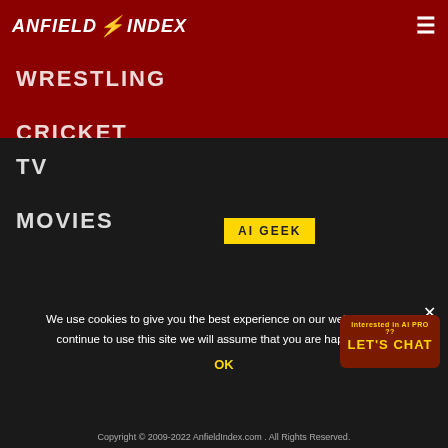ANFIELD INDEX
WRESTLING
CRICKET
TENNIS
[Figure (other): Yellow badge button labeled AI GEEK]
AI GEEK
COMICS
GAMING
TV
MOVIES
We use cookies to give you the best experience on our website. If you continue to use this site we will assume that you are happy with it.
OK
Copyright © 2009-2022 AnfieldIndex.com . All Rights Reserved.